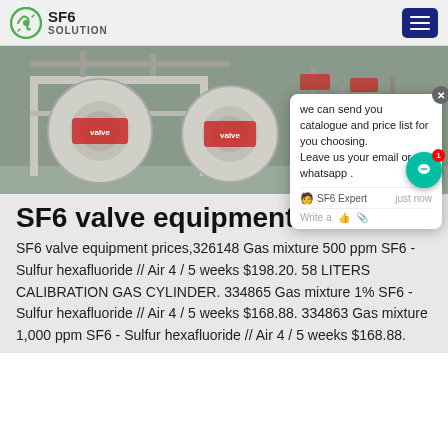SF6 SOLUTION
[Figure (photo): Industrial SF6 gas equipment — large white cylindrical valve units on a metal frame structure in an industrial facility]
SF6 valve equipment
SF6 valve equipment prices,326148 Gas mixture 500 ppm SF6 - Sulfur hexafluoride // Air 4 / 5 weeks $198.20. 58 LITERS CALIBRATION GAS CYLINDER. 334865 Gas mixture 1% SF6 - Sulfur hexafluoride // Air 4 / 5 weeks $168.88. 334863 Gas mixture 1,000 ppm SF6 - Sulfur hexafluoride // Air 4 / 5 weeks $168.88.